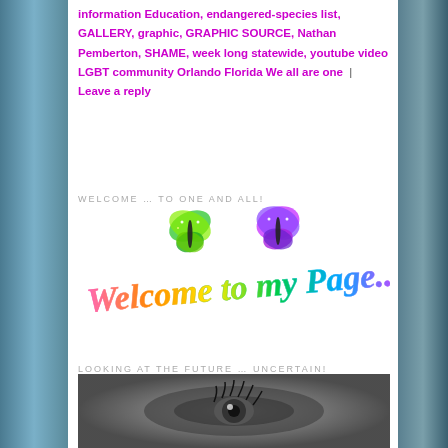information Education, endangered-species list, GALLERY, graphic, GRAPHIC SOURCE, Nathan Pemberton, SHAME, week long statewide, youtube video LGBT community Orlando Florida We all are one | Leave a reply
WELCOME … TO ONE AND ALL!
[Figure (illustration): Colorful 'Welcome to my Page...' graphic with rainbow butterflies and cursive rainbow text]
LOOKING AT THE FUTURE … UNCERTAIN!
[Figure (photo): Black and white close-up photo of an eye with dramatic eyelashes and swirling water or hair around it]